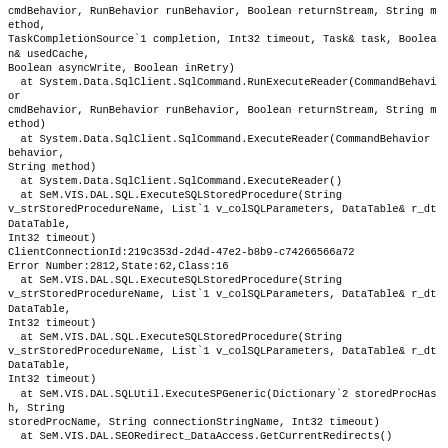cmdBehavior, RunBehavior runBehavior, Boolean returnStream, String method, TaskCompletionSource`1 completion, Int32 timeout, Task& task, Boolean& usedCache, Boolean asyncWrite, Boolean inRetry)
   at System.Data.SqlClient.SqlCommand.RunExecuteReader(CommandBehavior cmdBehavior, RunBehavior runBehavior, Boolean returnStream, String method)
   at System.Data.SqlClient.SqlCommand.ExecuteReader(CommandBehavior behavior, String method)
   at System.Data.SqlClient.SqlCommand.ExecuteReader()
   at SeM.VIS.DAL.SQL.ExecuteSQLStoredProcedure(String v_strStoredProcedureName, List`1 v_colSQLParameters, DataTable& r_dtDataTable, Int32 timeout)
ClientConnectionId:219c353d-2d4d-47e2-b8b9-c74266566a72
Error Number:2812,State:62,Class:16
   at SeM.VIS.DAL.SQL.ExecuteSQLStoredProcedure(String v_strStoredProcedureName, List`1 v_colSQLParameters, DataTable& r_dtDataTable, Int32 timeout)
   at SeM.VIS.DAL.SQL.ExecuteSQLStoredProcedure(String v_strStoredProcedureName, List`1 v_colSQLParameters, DataTable& r_dtDataTable, Int32 timeout)
   at SeM.VIS.DAL.SQLUtil.ExecuteSPGeneric(Dictionary`2 storedProcHash, String storedProcName, String connectionStringName, Int32 timeout)
   at SeM.VIS.DAL.SEORedirect_DataAccess.GetCurrentRedirects()
Source Error:
An unhandled exception was generated during the execution of the current web request. Information regarding the origin and location of the exception can be identified using the exception stack trace below.
Stack Trace:
[Exception: SeM.VIS.DAL.Website_Settings_DataAccess.cs--